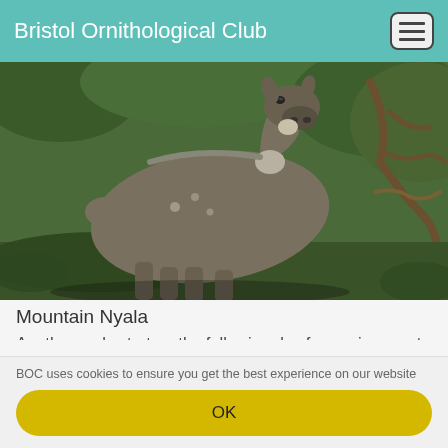Bristol Ornithological Club
[Figure (photo): A Mountain Nyala (large antelope) photographed facing the camera against a background of green foliage and twisted branches]
Mountain Nyala
Another early start on the following day for our journey to Negele allowed us to make a number of short stops on the journey and gave us enough time to do some birding in the Nigele area in the late afternoon. We saw a number of pairs of stunning Red and Yellow Barbets residing on the tops of termite mounds and could drift from Golden
BOC uses cookies to ensure you get the best experience on our website
OK